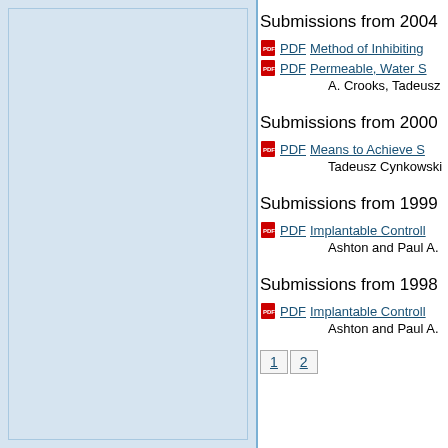Submissions from 2004
PDF  Method of Inhibiting...
PDF  Permeable, Water S...
A. Crooks, Tadeusz...
Submissions from 2000
PDF  Means to Achieve S...
Tadeusz Cynkowski...
Submissions from 1999
PDF  Implantable Controll...
Ashton and Paul A.
Submissions from 1998
PDF  Implantable Controll...
Ashton and Paul A.
1  2